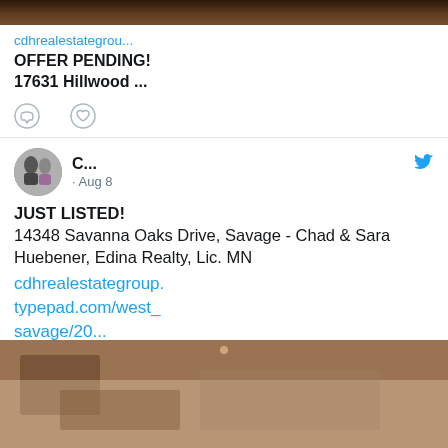[Figure (photo): Top cropped photo of a dark wood/stone interior, partially visible at top]
cdhrealestategrou...
OFFER PENDING!
17631 Hillwood ...
[Figure (infographic): Comment and heart/like icons for tweet actions]
[Figure (photo): Avatar photo of a man and woman (Chad and Sara Huebener)]
C...
· Aug 8
JUST LISTED!
14348 Savanna Oaks Drive, Savage - Chad & Sara Huebener, Edina Realty, Lic. MN
cdhrealestategroup.typepad.com/west_savage/20...
[Figure (photo): Bottom photo showing interior hallway or room]
[Figure (photo): Right side top photo: interior living room with hardwood floors, staircase railing, fireplace]
[Figure (photo): Right side bottom photo: kitchen with white cabinets, stainless appliances, granite countertops]
3597.